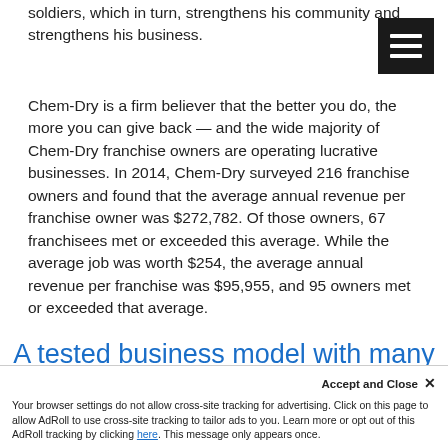soldiers, which in turn, strengthens his community and strengthens his business.
Chem-Dry is a firm believer that the better you do, the more you can give back — and the wide majority of Chem-Dry franchise owners are operating lucrative businesses. In 2014, Chem-Dry surveyed 216 franchise owners and found that the average annual revenue per franchise owner was $272,782. Of those owners, 67 franchisees met or exceeded this average. While the average job was worth $254, the average annual revenue per franchise was $95,955, and 95 owners met or exceeded that average.
A tested business model with many potential revenue streams
Accept and Close ✕
Your browser settings do not allow cross-site tracking for advertising. Click on this page to allow AdRoll to use cross-site tracking to tailor ads to you. Learn more or opt out of this AdRoll tracking by clicking here. This message only appears once.